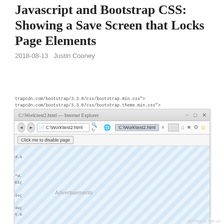Javascript and Bootstrap CSS: Showing a Save Screen that Locks Page Elements
2018-08-13   Justin Cooney
trapcdn.com/bootstrap/3.3.0/css/bootstrap.min.css">
trapcdn.com/bootstrap/3.3.0/css/bootstrap.theme.min.css">
[Figure (screenshot): Browser window screenshot showing a web page with a diagonal stripe overlay and an orange 'Saving...' button in the center. The browser address bar shows 'C:\Work\test2.html'. There is a 'Click me to disable page' button in the toolbar area.]
Advertisements